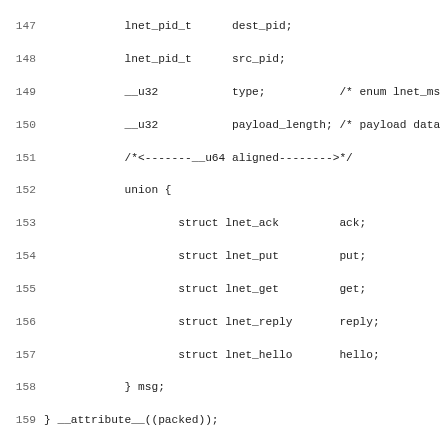Source code listing lines 147-179 showing C struct definitions for lnet message types including lnet_magicversion and PROTO MAGIC defines